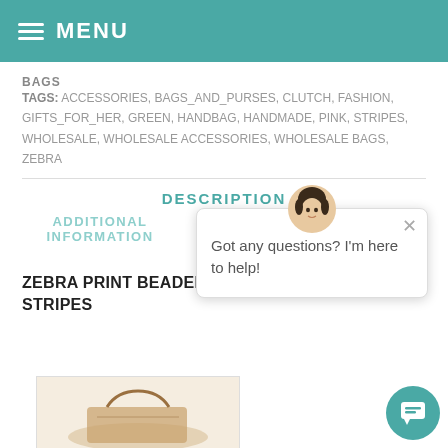MENU
BAGS
TAGS: ACCESSORIES, BAGS_AND_PURSES, CLUTCH, FASHION, GIFTS_FOR_HER, GREEN, HANDBAG, HANDMADE, PINK, STRIPES, WHOLESALE, WHOLESALE ACCESSORIES, WHOLESALE BAGS, ZEBRA
DESCRIPTION
ADDITIONAL INFORMATION
ZEBRA PRINT BEADED C... STRIPES
Got any questions? I'm here to help!
RELATED PRODUCTS
[Figure (photo): Related product image placeholder at bottom of page]